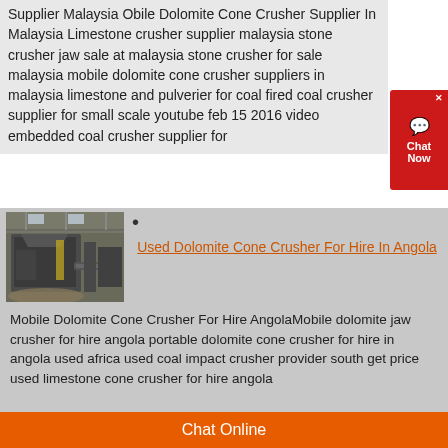Supplier Malaysia Obile Dolomite Cone Crusher Supplier In Malaysia Limestone crusher supplier malaysia stone crusher jaw sale at malaysia stone crusher for sale malaysia mobile dolomite cone crusher suppliers in malaysia limestone and pulverier for coal fired coal crusher supplier for small scale youtube feb 15 2016 video embedded coal crusher supplier for
[Figure (photo): Industrial crusher machine inside a warehouse/factory setting]
Used Dolomite Cone Crusher For Hire In Angola
Mobile Dolomite Cone Crusher For Hire AngolaMobile dolomite jaw crusher for hire angola portable dolomite cone crusher for hire in angola used africa used coal impact crusher provider south get price used limestone cone crusher for hire angola
Chat Online